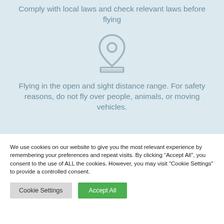Comply with local laws and check relevant laws before flying
[Figure (illustration): Location pin / map marker icon with a horizontal base line beneath it, rendered in gray outline style]
Flying in the open and sight distance range. For safety reasons, do not fly over people, animals, or moving vehicles.
We use cookies on our website to give you the most relevant experience by remembering your preferences and repeat visits. By clicking “Accept All”, you consent to the use of ALL the cookies. However, you may visit “Cookie Settings” to provide a controlled consent.
Cookie Settings
Accept All